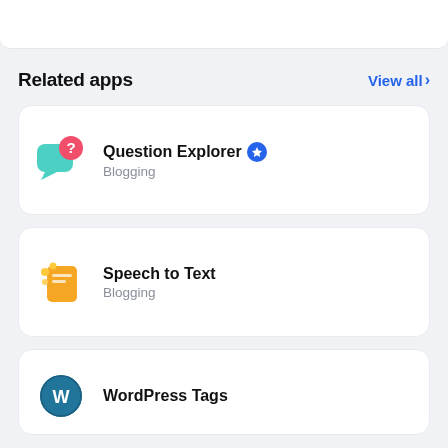Related apps
View all
Question Explorer Blogging
Speech to Text Blogging
WordPress Tags